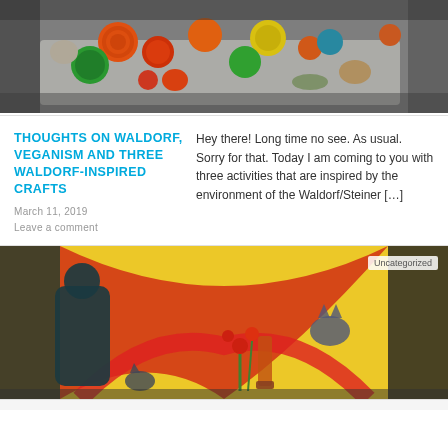[Figure (photo): Overhead photo of colorful plastic bottle caps and shaped pieces (hearts, circles) scattered on a surface — various colors including orange, green, yellow, red, gray]
THOUGHTS ON WALDORF, VEGANISM AND THREE WALDORF-INSPIRED CRAFTS
Hey there! Long time no see. As usual. Sorry for that. Today I am coming to you with three activities that are inspired by the environment of the Waldorf/Steiner […]
March 11, 2019
Leave a comment
[Figure (photo): Colorful illustrated painting showing a figure in dark robes, flowers, cats, and abstract shapes on a yellow background with red swooping lines]